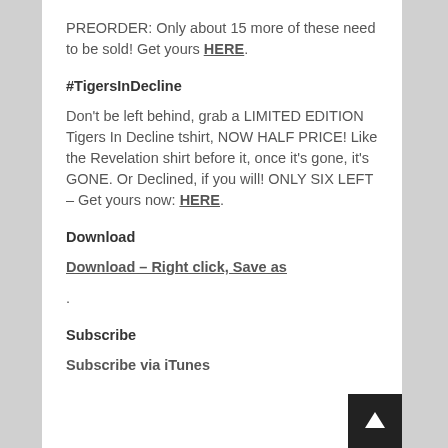PREORDER: Only about 15 more of these need to be sold! Get yours HERE.
#TigersInDecline
Don't be left behind, grab a LIMITED EDITION Tigers In Decline tshirt, NOW HALF PRICE! Like the Revelation shirt before it, once it's gone, it's GONE. Or Declined, if you will! ONLY SIX LEFT – Get yours now: HERE.
Download
Download – Right click, Save as.
Subscribe
Subscribe via iTunes